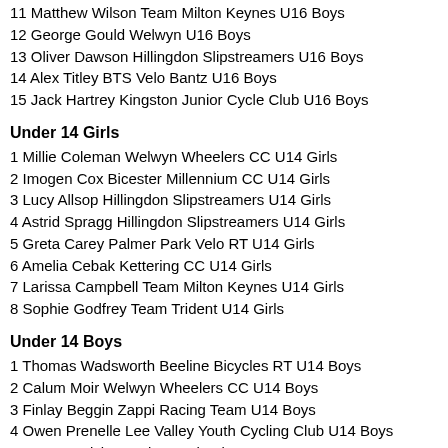11 Matthew Wilson Team Milton Keynes U16 Boys
12 George Gould Welwyn U16 Boys
13 Oliver Dawson Hillingdon Slipstreamers U16 Boys
14 Alex Titley BTS Velo Bantz U16 Boys
15 Jack Hartrey Kingston Junior Cycle Club U16 Boys
Under 14 Girls
1 Millie Coleman Welwyn Wheelers CC U14 Girls
2 Imogen Cox Bicester Millennium CC U14 Girls
3 Lucy Allsop Hillingdon Slipstreamers U14 Girls
4 Astrid Spragg Hillingdon Slipstreamers U14 Girls
5 Greta Carey Palmer Park Velo RT U14 Girls
6 Amelia Cebak Kettering CC U14 Girls
7 Larissa Campbell Team Milton Keynes U14 Girls
8 Sophie Godfrey Team Trident U14 Girls
Under 14 Boys
1 Thomas Wadsworth Beeline Bicycles RT U14 Boys
2 Calum Moir Welwyn Wheelers CC U14 Boys
3 Finlay Beggin Zappi Racing Team U14 Boys
4 Owen Prenelle Lee Valley Youth Cycling Club U14 Boys
5 Cormac Nisbet Welwyn Wheelers CC U14 Boys
6 Alasdair Mildred Team Milton Keynes U14 Boys
7 Ethan Stevenson Team Milton Keynes U14 Boys
8 Huw Wilson WVCC U14 Boys
9 Dominic Bell Kettering CC U14 Boys